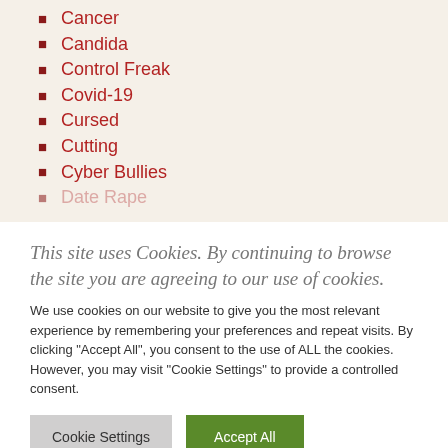Cancer
Candida
Control Freak
Covid-19
Cursed
Cutting
Cyber Bullies
Date Rape
This site uses Cookies. By continuing to browse the site you are agreeing to our use of cookies.
We use cookies on our website to give you the most relevant experience by remembering your preferences and repeat visits. By clicking "Accept All", you consent to the use of ALL the cookies. However, you may visit "Cookie Settings" to provide a controlled consent.